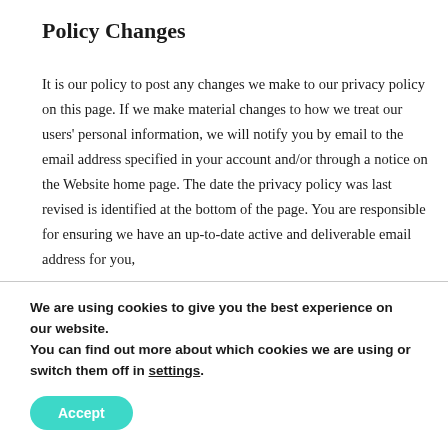Policy Changes
It is our policy to post any changes we make to our privacy policy on this page. If we make material changes to how we treat our users' personal information, we will notify you by email to the email address specified in your account and/or through a notice on the Website home page. The date the privacy policy was last revised is identified at the bottom of the page. You are responsible for ensuring we have an up-to-date active and deliverable email address for you,
We are using cookies to give you the best experience on our website.
You can find out more about which cookies we are using or switch them off in settings.
Accept